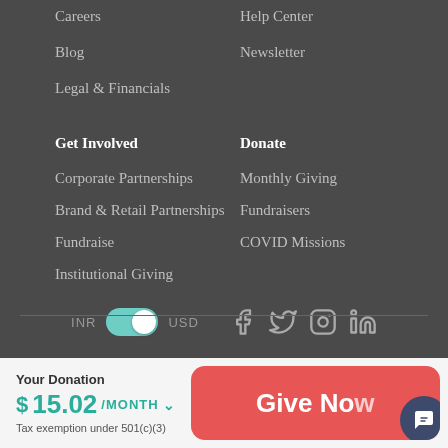Careers
Help Center
Blog
Newsletter
Legal & Financials
Get Involved
Donate
Corporate Partnerships
Monthly Giving
Brand & Retail Partnerships
Fundraisers
Fundraise
COVID Missions
Institutional Giving
INR  USD
Your Donation
$ 15.02/MONTH
Tax exemption under 501(c)(3)
Give Now